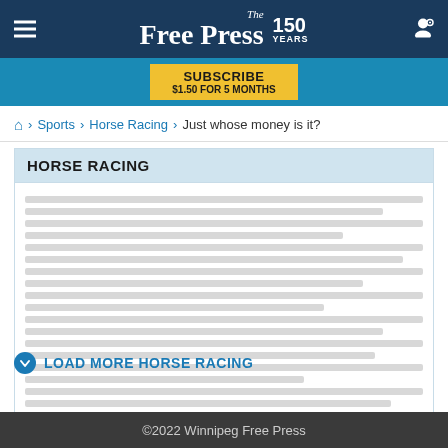The Free Press 150 Years
[Figure (screenshot): Blue subscribe bar with yellow Subscribe button: SUBSCRIBE $1.50 FOR 5 MONTHS]
🏠 > Sports > Horse Racing > Just whose money is it?
HORSE RACING
[Figure (other): Blurred/placeholder article listing rows under Horse Racing section]
⬇ LOAD MORE HORSE RACING
©2022 Winnipeg Free Press